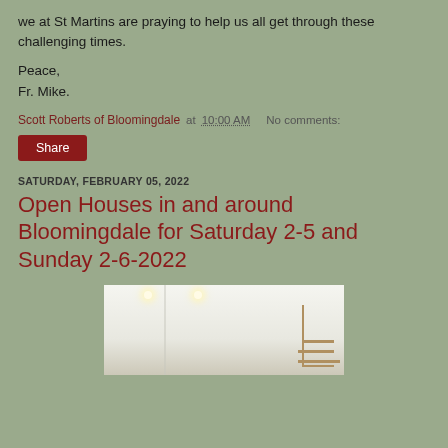we at St Martins are praying to help us all get through these challenging times.
Peace,
Fr. Mike.
Scott Roberts of Bloomingdale at 10:00 AM   No comments:
Share
SATURDAY, FEBRUARY 05, 2022
Open Houses in and around Bloomingdale for Saturday 2-5 and Sunday 2-6-2022
[Figure (photo): Interior photo of a white room with recessed ceiling lights and a staircase visible on the right side]